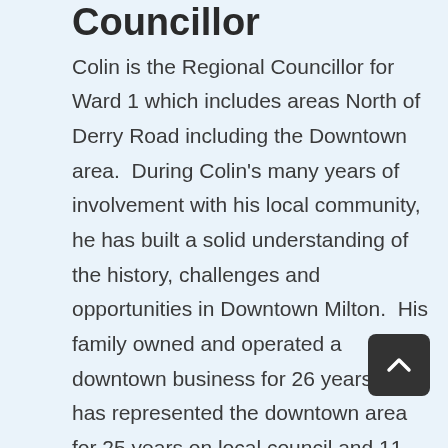Councillor
Colin is the Regional Councillor for Ward 1 which includes areas North of Derry Road including the Downtown area. During Colin’s many years of involvement with his local community, he has built a solid understanding of the history, challenges and opportunities in Downtown Milton. His family owned and operated a downtown business for 26 years. He has represented the downtown area for 25 years on local council and 11 years on regional council. He is also the Vice-Chair of the Regional Planning & Public Works Committee and is involved in a number of downtown events such as the Farmer’s Market, Santa Claus Parade and